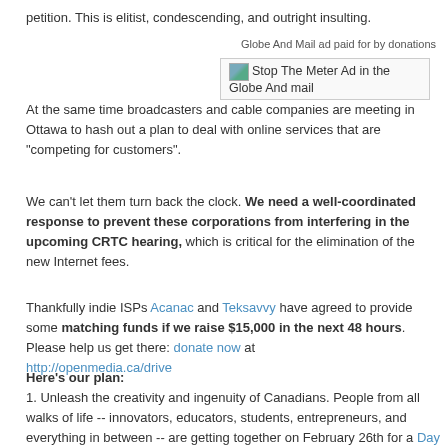petition. This is elitist, condescending, and outright insulting.
Globe And Mail ad paid for by donations
[Figure (other): Stop The Meter Ad in the Globe And mail — ad box with small image icon]
At the same time broadcasters and cable companies are meeting in Ottawa to hash out a plan to deal with online services that are "competing for customers".
We can't let them turn back the clock. We need a well-coordinated response to prevent these corporations from interfering in the upcoming CRTC hearing, which is critical for the elimination of the new Internet fees.
Thankfully indie ISPs Acanac and Teksavvy have agreed to provide some matching funds if we raise $15,000 in the next 48 hours. Please help us get there: donate now at http://openmedia.ca/drive
Here's our plan:
1. Unleash the creativity and ingenuity of Canadians. People from all walks of life -- innovators, educators, students, entrepreneurs, and everything in between -- are getting together on February 26th for a Day Of Action to educate our fellow Canadians about Internet metering.
2. Put together a united front of public interest groups, creators, indie ISPs, online service providers and half a million Canadians to put forth a well-researched, evidence-based